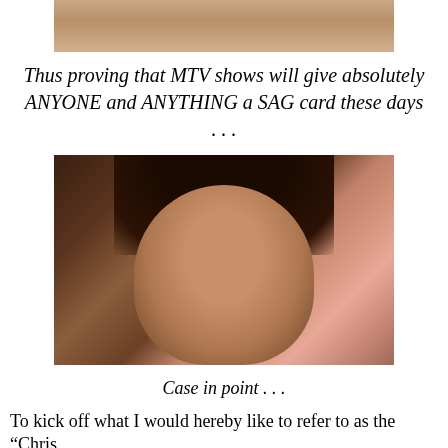[Figure (photo): Partial photo of feet/hands cropped at top of page]
Thus proving that MTV shows will give absolutely ANYONE and ANYTHING a SAG card these days . . .
[Figure (photo): Photo of a woman with long dark hair holding a card, wearing a cross necklace, on a TV show set]
Case in point . . .
To kick off what I would hereby like to refer to as the "Chris